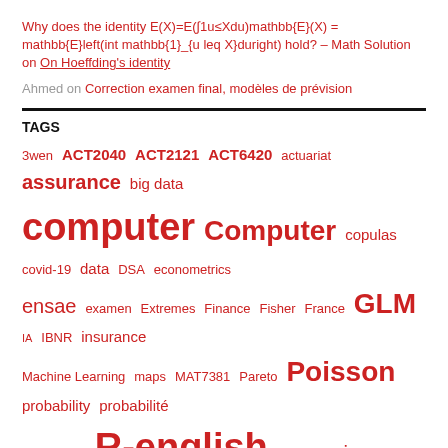Why does the identity E(X)=E(∫1u≤Xdu)mathbb{E}(X) = mathbb{E}left(int mathbb{1}_{u leq X}duright) hold? – Math Solution on On Hoeffding's identity
Ahmed on Correction examen final, modèles de prévision
TAGS
3wen ACT2040 ACT2121 ACT6420 actuariat assurance big data computer Computer copulas covid-19 data DSA econometrics ensae examen Extremes Finance Fisher France GLM IA IBNR insurance Machine Learning maps MAT7381 Pareto Poisson probability probabilité quantile R R-english regression Renglish risk Risques rstats SOA splines STT5100 test tree viméo